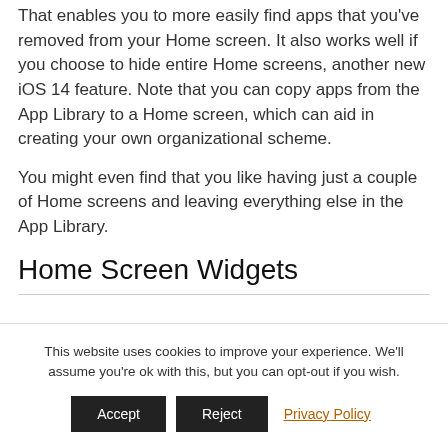That enables you to more easily find apps that you've removed from your Home screen. It also works well if you choose to hide entire Home screens, another new iOS 14 feature. Note that you can copy apps from the App Library to a Home screen, which can aid in creating your own organizational scheme.
You might even find that you like having just a couple of Home screens and leaving everything else in the App Library.
Home Screen Widgets
This website uses cookies to improve your experience. We'll assume you're ok with this, but you can opt-out if you wish.
Accept  Reject  Privacy Policy